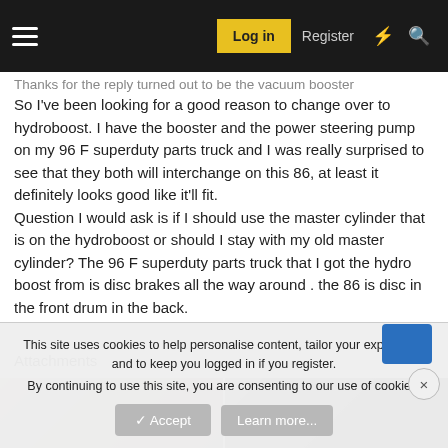Log in | Register
Thanks for the reply turned out to be the vacuum booster So I've been looking for a good reason to change over to hydroboost. I have the booster and the power steering pump on my 96 F superduty parts truck and I was really surprised to see that they both will interchange on this 86, at least it definitely looks good like it'll fit.
Question I would ask is if I should use the master cylinder that is on the hydroboost or should I stay with my old master cylinder? The 96 F superduty parts truck that I got the hydro boost from is disc brakes all the way around . the 86 is disc in the front drum in the back.
Attachments
[Figure (photo): Two attachment thumbnail images partially visible at the bottom of the post]
This site uses cookies to help personalise content, tailor your experience and to keep you logged in if you register.
By continuing to use this site, you are consenting to our use of cookies.